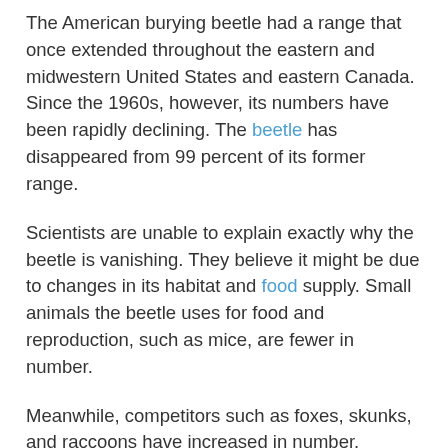The American burying beetle had a range that once extended throughout the eastern and midwestern United States and eastern Canada. Since the 1960s, however, its numbers have been rapidly declining. The beetle has disappeared from 99 percent of its former range.
Scientists are unable to explain exactly why the beetle is vanishing. They believe it might be due to changes in its habitat and food supply. Small animals the beetle uses for food and reproduction, such as mice, are fewer in number.
Meanwhile, competitors such as foxes, skunks, and raccoons have increased in number. Pesticides and insecticides, used primarily on farmland, may have also played a role in the decline of the American burying beetle, but no one is sure exactly how.
Scientists are currently studying the ecology and reproductive habits of the American burying beetle. Efforts to reintroduce the beetle into suitable habitat have begun. The population of American burying beetles on Nantucket Island is maintained and...